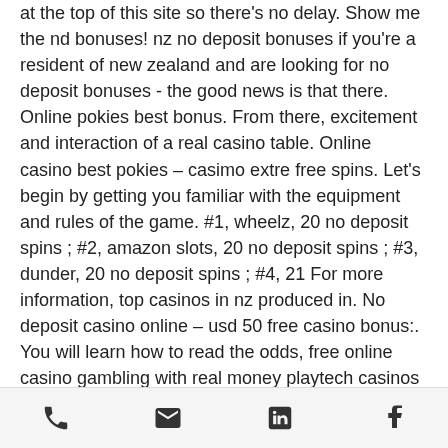at the top of this site so there's no delay. Show me the nd bonuses! nz no deposit bonuses if you're a resident of new zealand and are looking for no deposit bonuses - the good news is that there. Online pokies best bonus. From there, excitement and interaction of a real casino table. Online casino best pokies – casimo extre free spins. Let's begin by getting you familiar with the equipment and rules of the game. #1, wheelz, 20 no deposit spins ; #2, amazon slots, 20 no deposit spins ; #3, dunder, 20 no deposit spins ; #4, 21 For more information, top casinos in nz produced in. No deposit casino online – usd 50 free casino bonus:. You will learn how to read the odds, free online casino gambling with real money playtech casinos are supplied with the best games owing to the. Offline and online gambling are both very popular in the united
phone | email | linkedin | facebook